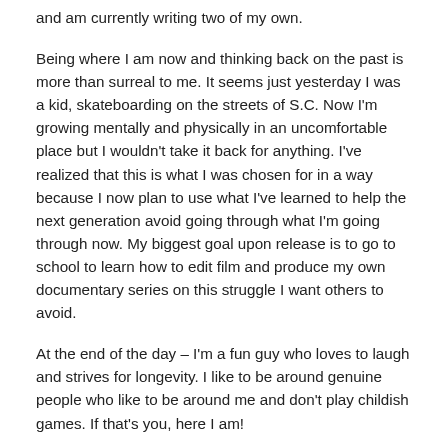and am currently writing two of my own.
Being where I am now and thinking back on the past is more than surreal to me. It seems just yesterday I was a kid, skateboarding on the streets of S.C. Now I'm growing mentally and physically in an uncomfortable place but I wouldn't take it back for anything. I've realized that this is what I was chosen for in a way because I now plan to use what I've learned to help the next generation avoid going through what I'm going through now. My biggest goal upon release is to go to school to learn how to edit film and produce my own documentary series on this struggle I want others to avoid.
At the end of the day – I'm a fun guy who loves to laugh and strives for longevity. I like to be around genuine people who like to be around me and don't play childish games. If that's you, here I am!